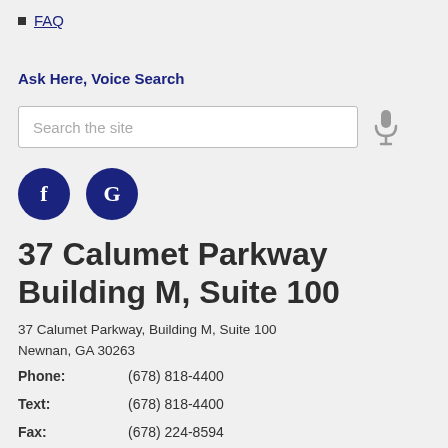FAQ
Ask Here, Voice Search
[Figure (other): Search box with placeholder text 'Search the site' and a microphone icon to the right]
[Figure (other): Two dark navy circular social media icons: 'f' for Facebook and 'G' for Google]
37 Calumet Parkway Building M, Suite 100
37 Calumet Parkway, Building M, Suite 100
Newnan, GA 30263
Phone: (678) 818-4400
Text: (678) 818-4400
Fax: (678) 224-8594